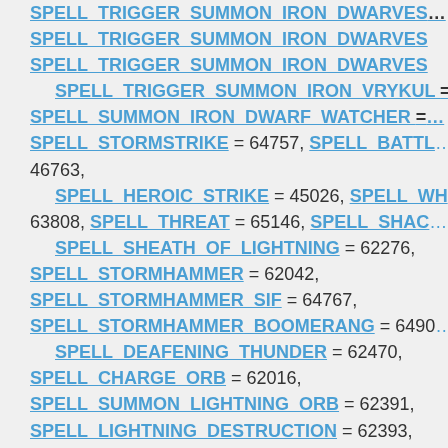SPELL_TRIGGER_SUMMON_IRON_DWARVES... SPELL_TRIGGER_SUMMON_IRON_DWARVES SPELL_TRIGGER_SUMMON_IRON_DWARVES SPELL_TRIGGER_SUMMON_IRON_VRYKUL = SPELL_SUMMON_IRON_DWARF_WATCHER = SPELL_STORMSTRIKE = 64757, SPELL_BATTL... 46763, SPELL_HEROIC_STRIKE = 45026, SPELL_WH... 63808, SPELL_THREAT = 65146, SPELL_SHAC... SPELL_SHEATH_OF_LIGHTNING = 62276, SPELL_STORMHAMMER = 62042, SPELL_STORMHAMMER_SIF = 64767, SPELL_STORMHAMMER_BOOMERANG = 6490... SPELL_DEAFENING_THUNDER = 62470, SPELL_CHARGE_ORB = 62016, SPELL_SUMMON_LIGHTNING_ORB = 62391, SPELL_LIGHTNING_DESTRUCTION = 62393, SPELL_TOUCH_OF_DOMINION = 62507, SPELL_TOUCH_OF_DOMINION_TRIGGERED = SPELL_CHAIN_LIGHTNING = 62131, SPELL_LIGHTNING_ORB_CHARGED = 62186,